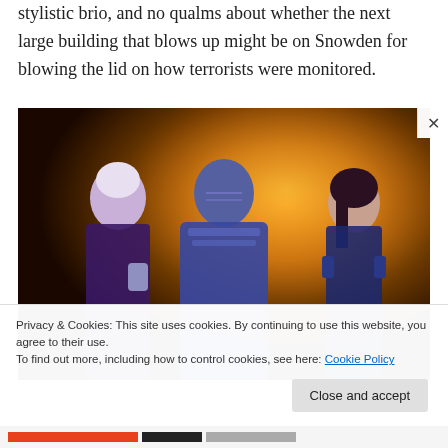stylistic brio, and no qualms about whether the next large building that blows up might be on Snowden for blowing the lid on how terrorists were monitored.
[Figure (photo): Movie still showing three characters in purple costumes against a fiery orange industrial background — Storm (short white hair), Apocalypse (blue face, armored suit), and Psylocke (long dark hair) from X-Men: Apocalypse.]
Privacy & Cookies: This site uses cookies. By continuing to use this website, you agree to their use.
To find out more, including how to control cookies, see here: Cookie Policy
Close and accept